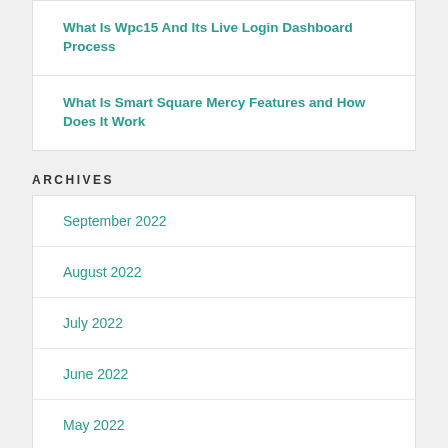What Is Wpc15 And Its Live Login Dashboard Process
What Is Smart Square Mercy Features and How Does It Work
ARCHIVES
September 2022
August 2022
July 2022
June 2022
May 2022
April 2022
March 2022